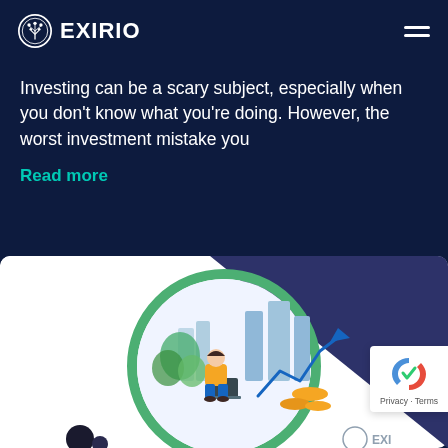EXIRIO
Investing can be a scary subject, especially when you don't know what you're doing. However, the worst investment mistake you
Read more
[Figure (illustration): Illustration of a person sitting on coins, looking at a laptop, surrounded by financial chart elements, buildings, upward arrow, and money, inside a green circle on a dark navy/white background with EXIRIO branding]